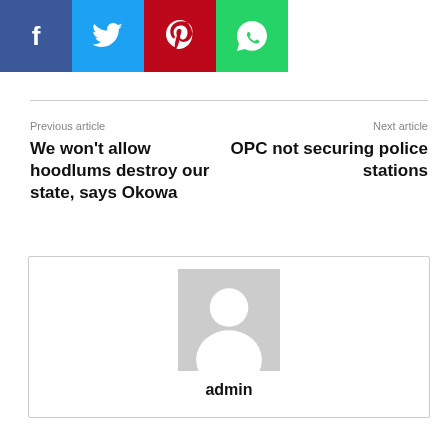[Figure (other): Social share buttons: Facebook (blue), Twitter (cyan), Pinterest (red), WhatsApp (green)]
Previous article
We won't allow hoodlums destroy our state, says Okowa
Next article
OPC not securing police stations
[Figure (other): Author box with default avatar placeholder image and name 'admin']